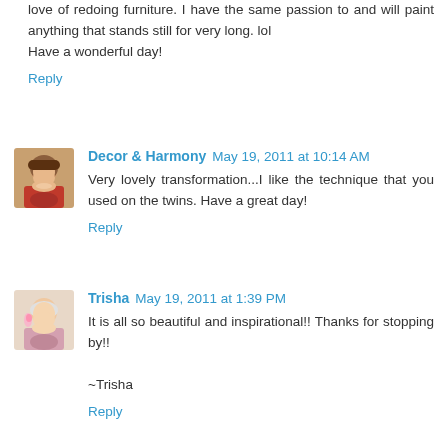love of redoing furniture. I have the same passion to and will paint anything that stands still for very long. lol
Have a wonderful day!
Reply
Decor & Harmony  May 19, 2011 at 10:14 AM
Very lovely transformation...I like the technique that you used on the twins. Have a great day!
Reply
Trisha  May 19, 2011 at 1:39 PM
It is all so beautiful and inspirational!! Thanks for stopping by!!

~Trisha
Reply